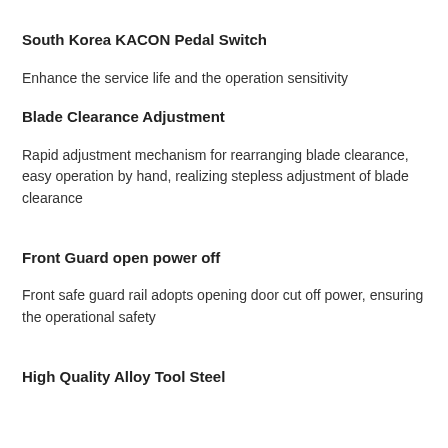South Korea KACON Pedal Switch
Enhance the service life and the operation sensitivity
Blade Clearance Adjustment
Rapid adjustment mechanism for rearranging blade clearance, easy operation by hand, realizing stepless adjustment of blade clearance
Front Guard open power off
Front safe guard rail adopts opening door cut off power, ensuring the operational safety
High Quality Alloy Tool Steel